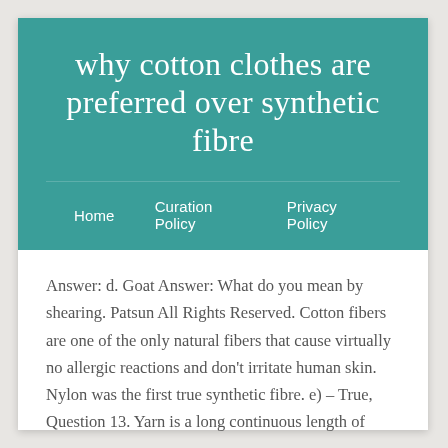why cotton clothes are preferred over synthetic fibre
Home   Curation Policy   Privacy Policy
Answer: d. Goat Answer: What do you mean by shearing. Patsun All Rights Reserved. Cotton fibers are one of the only natural fibers that cause virtually no allergic reactions and don't irritate human skin. Nylon was the first true synthetic fibre. e) – True, Question 13. Yarn is a long continuous length of